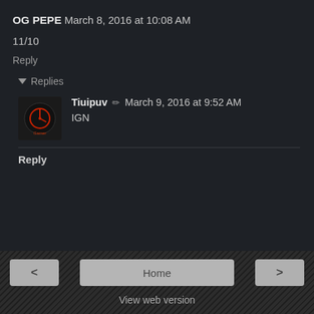OG PEPE March 8, 2016 at 10:08 AM
11/10
Reply
▼ Replies
Tiuipuv ✏ March 9, 2016 at 9:52 AM
IGN
Reply
< Home > View web version